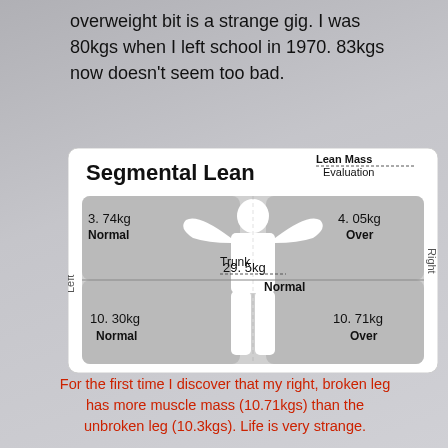overweight bit is a strange gig. I was 80kgs when I left school in 1970. 83kgs now doesn't seem too bad.
[Figure (infographic): Segmental Lean body diagram showing lean mass values for left arm (3.74kg Normal), right arm (4.05kg Over), trunk (29.5kg Normal), left leg (10.30kg Normal), right leg (10.71kg Over). Labelled 'Lean Mass Evaluation'.]
For the first time I discover that my right, broken leg has more muscle mass (10.71kgs) than the unbroken leg (10.3kgs). Life is very strange.